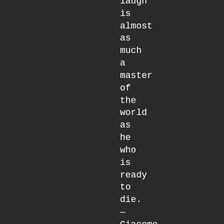laugh
is
almost
as
much
a
master
of
the
world
as
he
who
is
ready
to
die.
—
Giacomo
Leopardi